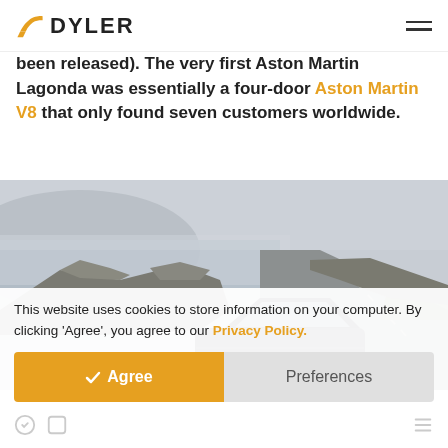DYLER
been released). The very first Aston Martin Lagonda was essentially a four-door Aston Martin V8 that only found seven customers worldwide.
[Figure (photo): A dark-colored car (Aston Martin Lagonda) parked on a narrow road beside a rocky shoreline, with a misty lake and hills in the background.]
This website uses cookies to store information on your computer. By clicking 'Agree', you agree to our Privacy Policy.